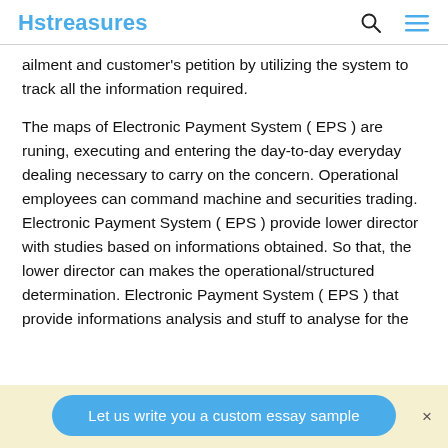Hstreasures
ailment and customer’s petition by utilizing the system to track all the information required.
The maps of Electronic Payment System ( EPS ) are runing, executing and entering the day-to-day everyday dealing necessary to carry on the concern. Operational employees can command machine and securities trading. Electronic Payment System ( EPS ) provide lower director with studies based on informations obtained. So that, the lower director can makes the operational/structured determination. Electronic Payment System ( EPS ) that provide informations analysis and stuff to analyse for the
Let us write you a custom essay sample